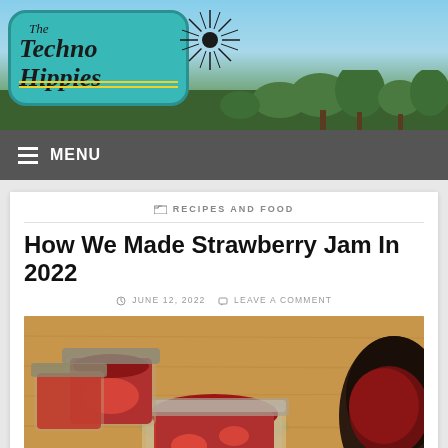[Figure (photo): Website header banner showing 'The Techno Hippies' logo on a teal rounded rectangle background with a sunburst design, set against a photo of trees and blue sky]
MENU
RECIPES AND FOOD
How We Made Strawberry Jam In 2022
JUNE 12, 2022   LEAVE A COMMENT
[Figure (photo): Photo of glass mason jars filled with red strawberry jam on a wooden cutting board, with a spoon and dark pot visible, jam splattered around the jars]